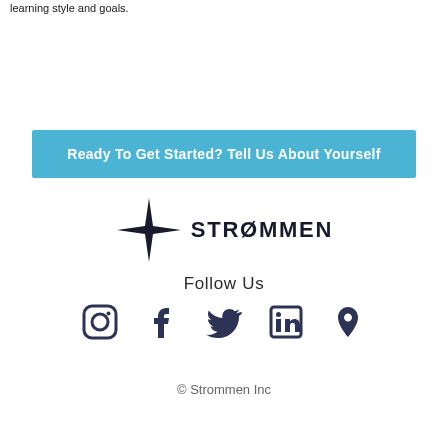learning style and goals.
Ready To Get Started? Tell Us About Yourself
[Figure (logo): STROMMEN star logo with four-pointed star and bold text STROMMEN]
Follow Us
[Figure (infographic): Social media icons: Instagram, Facebook, Twitter, LinkedIn, Location pin]
© Strommen Inc